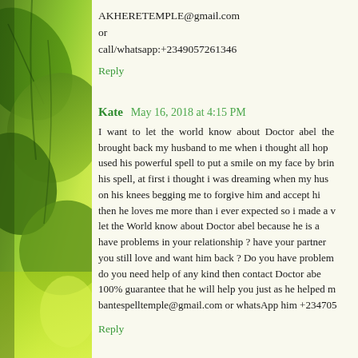[Figure (photo): Green leaves photo on left side of page]
AKHERETEMPLE@gmail.com
or
call/whatsapp:+2349057261346
Reply
Kate  May 16, 2018 at 4:15 PM
I want to let the world know about Doctor abel the brought back my husband to me when i thought all hop used his powerful spell to put a smile on my face by brin his spell, at first i thought i was dreaming when my hus on his knees begging me to forgive him and accept hi then he loves me more than i ever expected so i made a v let the World know about Doctor abel because he is a have problems in your relationship ? have your partner you still love and want him back ? Do you have problem do you need help of any kind then contact Doctor abe 100% guarantee that he will help you just as he helped m bantespelltemple@gmail.com or whatsApp him +234705
Reply